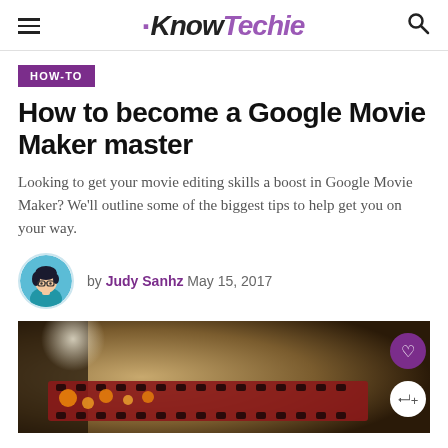KnowTechie
HOW-TO
How to become a Google Movie Maker master
Looking to get your movie editing skills a boost in Google Movie Maker? We’ll outline some of the biggest tips to help get you on your way.
by Judy Sanhz  May 15, 2017
[Figure (photo): Film reel close-up photo with bokeh lights, dark cinematic tone. Purple heart and share action buttons overlaid on right side.]